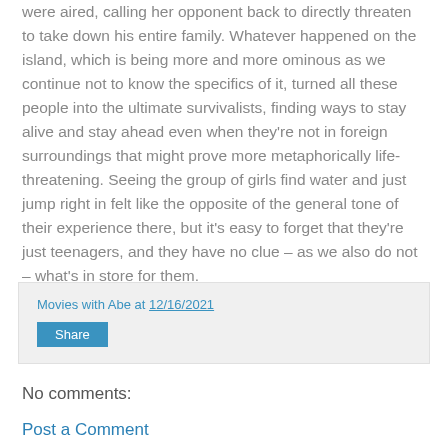were aired, calling her opponent back to directly threaten to take down his entire family. Whatever happened on the island, which is being more and more ominous as we continue not to know the specifics of it, turned all these people into the ultimate survivalists, finding ways to stay alive and stay ahead even when they're not in foreign surroundings that might prove more metaphorically life-threatening. Seeing the group of girls find water and just jump right in felt like the opposite of the general tone of their experience there, but it's easy to forget that they're just teenagers, and they have no clue – as we also do not – what's in store for them.
Movies with Abe at 12/16/2021
Share
No comments:
Post a Comment